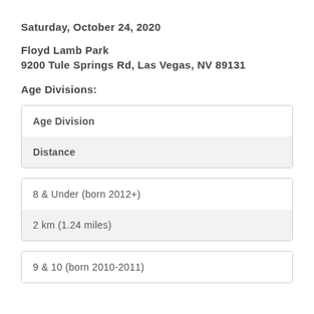Saturday, October 24, 2020
Floyd Lamb Park
9200 Tule Springs Rd, Las Vegas, NV 89131
Age Divisions:
| Age Division | Distance |
| --- | --- |
| 8 & Under (born 2012+) | 2 km (1.24 miles) |
| 9 & 10 (born 2010-2011) |  |